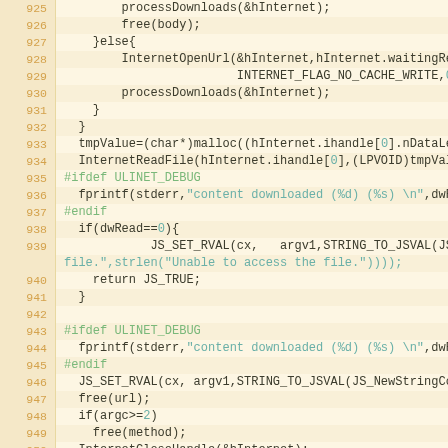[Figure (screenshot): Source code listing showing C/C++ code with line numbers 925-951. Lines are displayed with orange line numbers on a cream/tan background, with syntax highlighting: keywords in bold dark, strings in teal/cyan, preprocessor directives in green.]